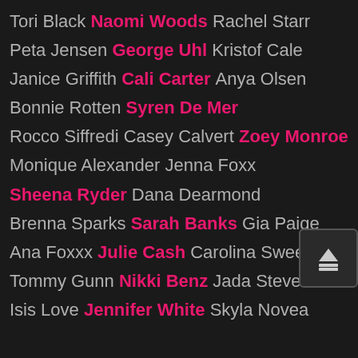Tori Black   Naomi Woods   Rachel Starr
Peta Jensen   George Uhl   Kristof Cale
Janice Griffith   Cali Carter   Anya Olsen
Bonnie Rotten   Syren De Mer
Rocco Siffredi   Casey Calvert   Zoey Monroe
Monique Alexander   Jenna Foxx
Sheena Ryder   Dana Dearmond
Brenna Sparks   Sarah Banks   Gia Paige
Ana Foxxx   Julie Cash   Carolina Sweets
Tommy Gunn   Nikki Benz   Jada Stevens
Isis Love   Jennifer White   Skyla Novea